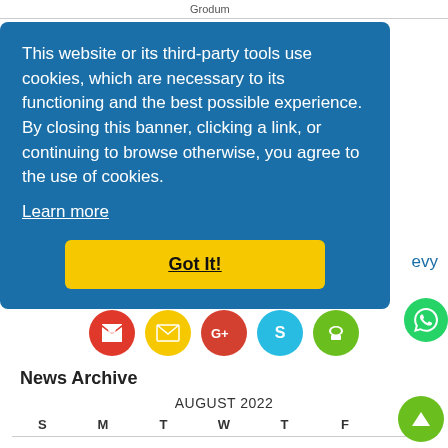Grodum
This website or its third-party tools use cookies, which are necessary to its functioning and the best possible experience. By closing this banner, clicking a link, or continuing to browse otherwise, you agree to the use of cookies.
Learn more
Got It!
[Figure (infographic): Row of five social sharing icon circles: Gmail (red), Email (yellow), Google+ (red), Skype (blue), and a print/cup icon (green)]
News Archive
AUGUST 2022
S  M  T  W  T  F  S